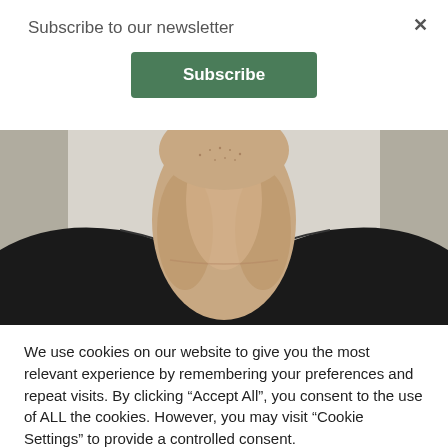Subscribe to our newsletter
Subscribe
[Figure (photo): Close-up photo of a person's neck and upper chest wearing a black t-shirt, against a light beige/grey background.]
We use cookies on our website to give you the most relevant experience by remembering your preferences and repeat visits. By clicking “Accept All”, you consent to the use of ALL the cookies. However, you may visit "Cookie Settings" to provide a controlled consent.
Cookie Settings
Accept All